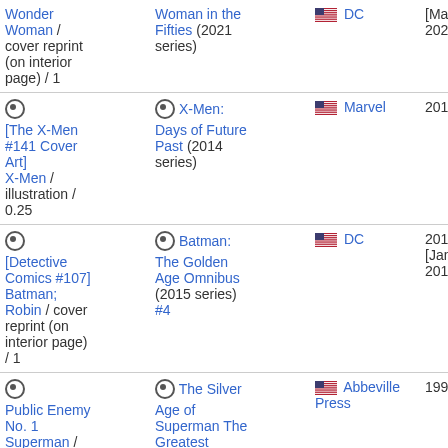| Work | Appeared in | Publisher | Year | Page |
| --- | --- | --- | --- | --- |
| ⊙ Wonder Woman / cover reprint (on interior page) / 1 | ⊙ Woman in the Fifties (2021 series) | 🇺🇸 DC | [March 2021] | 01 |
| ⊙ [The X-Men #141 Cover Art] X-Men / illustration / 0.25 | ⊙ X-Men: Days of Future Past (2014 series) | 🇺🇸 Marvel | 2014 | 20 03 |
| ⊙ [Detective Comics #107] Batman; Robin / cover reprint (on interior page) / 1 | ⊙ Batman: The Golden Age Omnibus (2015 series) #4 | 🇺🇸 DC | 2017 [January 2018] | 20 11 |
| ⊙ Public Enemy No. 1 Superman / cover reprint (on interior page) | ⊙ The Silver Age of Superman The Greatest Covers of Action Comics from the '50s | 🇺🇸 Abbeville Press | 1995 | — |